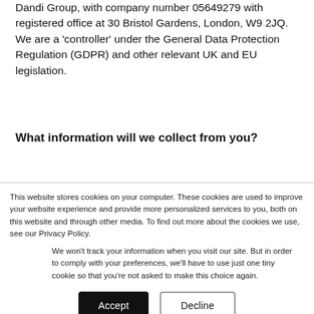Dandi Group, with company number 05649279 with registered office at 30 Bristol Gardens, London, W9 2JQ. We are a 'controller' under the General Data Protection Regulation (GDPR) and other relevant UK and EU legislation.
What information will we collect from you?
This website stores cookies on your computer. These cookies are used to improve your website experience and provide more personalized services to you, both on this website and through other media. To find out more about the cookies we use, see our Privacy Policy.
We won't track your information when you visit our site. But in order to comply with your preferences, we'll have to use just one tiny cookie so that you're not asked to make this choice again.